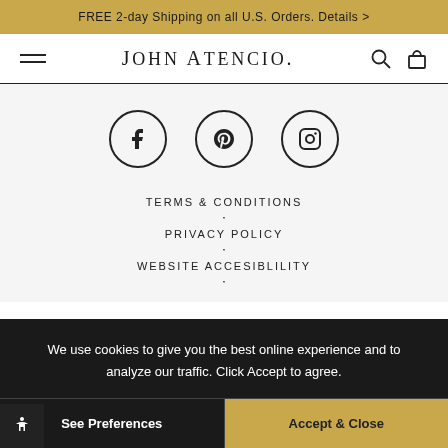FREE 2-day Shipping on all U.S. Orders. Details >
[Figure (logo): John Atencio logo with hamburger menu, search icon, and bag icon navigation]
[Figure (infographic): Social media icons: Facebook, Pinterest, Instagram in circles]
TERMS & CONDITIONS
PRIVACY POLICY
WEBSITE ACCESIBLILITY
We use cookies to give you the best online experience and to analyze our traffic. Click Accept to agree.
See Preferences
Accept & Close